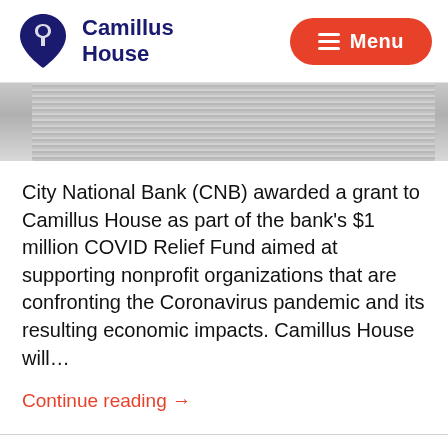Camillus House — Menu
[Figure (photo): Partial image of a textured wooden surface, cropped banner style]
City National Bank (CNB) awarded a grant to Camillus House as part of the bank's $1 million COVID Relief Fund aimed at supporting nonprofit organizations that are confronting the Coronavirus pandemic and its resulting economic impacts. Camillus House will…
Continue reading →
SIX DECADES OF UNCONDITIONAL